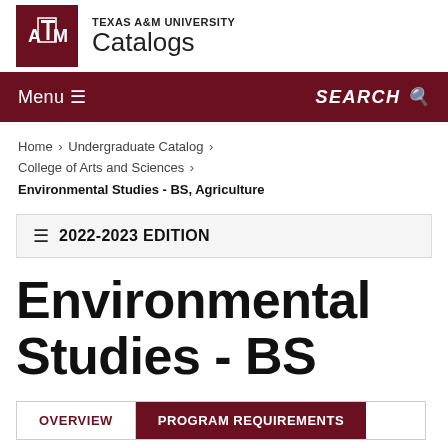TEXAS A&M UNIVERSITY Catalogs
Menu ≡    SEARCH 🔍
Home › Undergraduate Catalog › College of Arts and Sciences › Environmental Studies - BS, Agriculture
≡  2022-2023 EDITION
Environmental Studies - BS
OVERVIEW    PROGRAM REQUIREMENTS